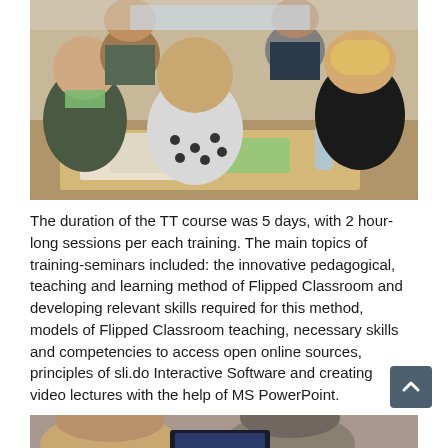[Figure (photo): Group of people sitting around a table in a workshop or training session, viewed from behind, with papers and a water bottle on the table.]
The duration of the TT course was 5 days, with 2 hour-long sessions per each training. The main topics of training-seminars included: the innovative pedagogical, teaching and learning method of Flipped Classroom and developing relevant skills required for this method, models of Flipped Classroom teaching, necessary skills and competencies to access open online sources, principles of sli.do Interactive Software and creating video lectures with the help of MS PowerPoint.
[Figure (photo): Partial view of people at a training session, bottom portion of page.]